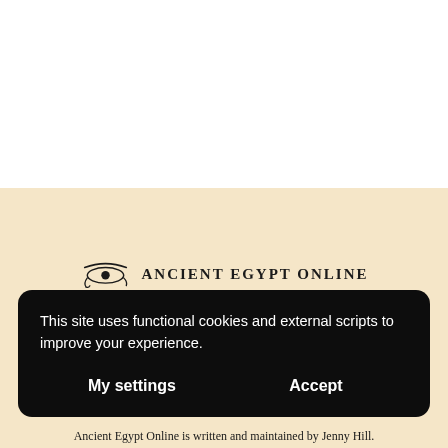[Figure (logo): Eye of Horus logo with text ANCIENT EGYPT ONLINE]
This site uses functional cookies and external scripts to improve your experience.
My settings     Accept
Ancient Egypt Online is written and maintained by Jenny Hill.